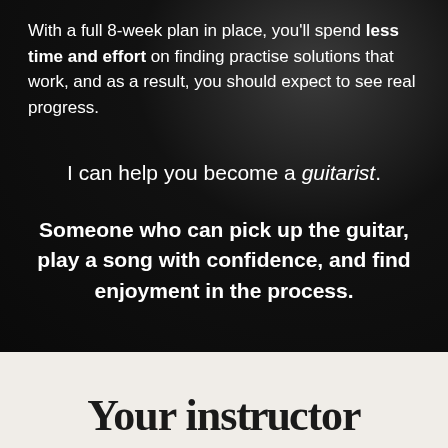With a full 8-week plan in place, you'll spend less time and effort on finding practise solutions that work, and as a result, you should expect to see real progress.
I can help you become a guitarist.
Someone who can pick up the guitar, play a song with confidence, and find enjoyment in the process.
Your instructor